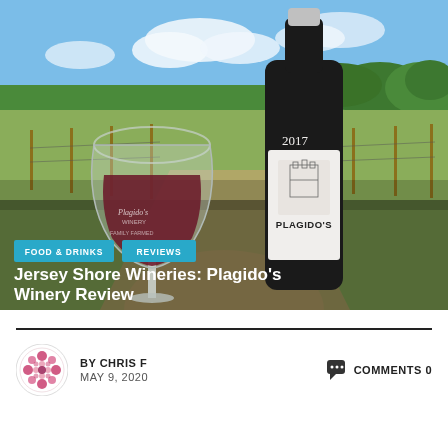[Figure (photo): Outdoor photo at Plagido's Winery showing a wine glass with red wine bearing the Plagido's Winery logo on the left and a dark wine bottle labeled PLAGIDO'S 2017 on the right, with vineyard rows and blue sky with clouds in the background.]
FOOD & DRINKS
REVIEWS
Jersey Shore Wineries: Plagido's Winery Review
BY CHRIS F
MAY 9, 2020
COMMENTS 0